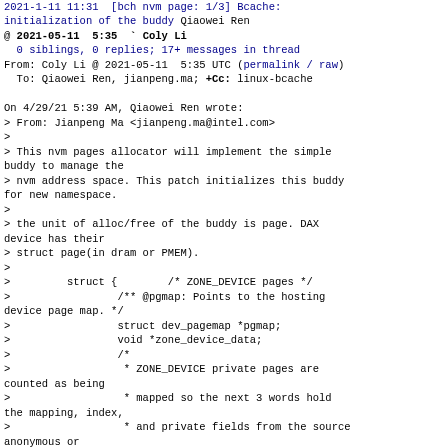2021-1-11 11:31 [bch nvm page: 1/3] Bcache: initialization of the buddy Qiaowei Ren
@ 2021-05-11  5:35  ` Coly Li
  0 siblings, 0 replies; 17+ messages in thread
From: Coly Li @ 2021-05-11  5:35 UTC (permalink / raw)
  To: Qiaowei Ren, jianpeng.ma; +Cc: linux-bcache

On 4/29/21 5:39 AM, Qiaowei Ren wrote:
> From: Jianpeng Ma <jianpeng.ma@intel.com>
>
> This nvm pages allocator will implement the simple buddy to manage the
> nvm address space. This patch initializes this buddy for new namespace.
>
> the unit of alloc/free of the buddy is page. DAX device has their
> struct page(in dram or PMEM).
>
>         struct {        /* ZONE_DEVICE pages */
>                 /** @pgmap: Points to the hosting device page map. */
>                 struct dev_pagemap *pgmap;
>                 void *zone_device_data;
>                 /*
>                  * ZONE_DEVICE private pages are counted as being
>                  * mapped so the next 3 words hold the mapping, index,
>                  * and private fields from the source anonymous or